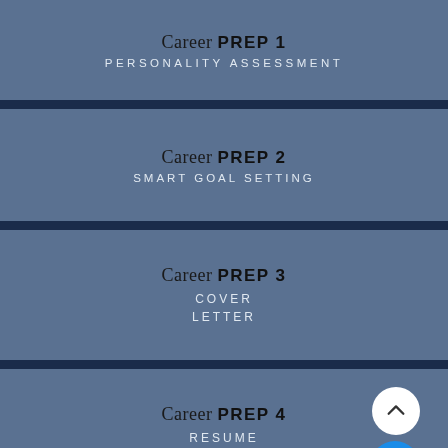Career PREP 1
PERSONALITY ASSESSMENT
Career PREP 2
SMART GOAL SETTING
Career PREP 3
COVER LETTER
Career PREP 4
RESUME BUILDING
[Figure (infographic): Scroll-up button (white circle with chevron up icon) and a blue circle button with three dots, both positioned in bottom-right of section 4]